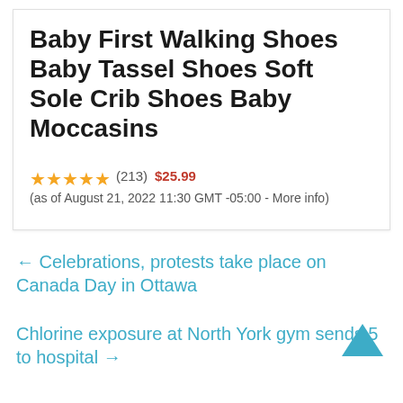Baby First Walking Shoes Baby Tassel Shoes Soft Sole Crib Shoes Baby Moccasins
★★★★½ (213) $25.99 (as of August 21, 2022 11:30 GMT -05:00 - More info)
← Celebrations, protests take place on Canada Day in Ottawa
Chlorine exposure at North York gym sends 5 to hospital →